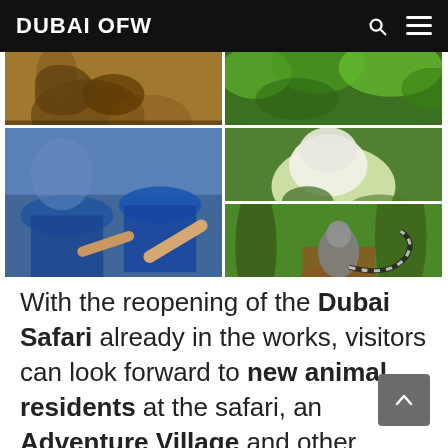DUBAI OFW
[Figure (photo): Collage of 5 animal/safari photos: top-left shows a lion/goat on rocks, bottom-left shows children in blue hats pointing, top-right shows green leaves/trees, middle-right shows a white lion cub on grass, bottom-right shows a ring-tailed lemur on a stump in green foliage.]
With the reopening of the Dubai Safari already in the works, visitors can look forward to new animal residents at the safari, an Adventure Village and other